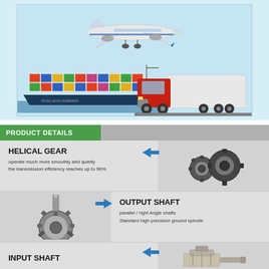[Figure (photo): Transport collage: airplane flying overhead (top), cargo ship loaded with colorful containers on the left, large red semi-truck on the right, on a light blue background]
PRODUCT DETAILS
[Figure (infographic): Product details infographic with three rows: (1) HELICAL GEAR with photo of helical gear and blue left-pointing arrow, text: operate much more smoothly and quietly the transmission efficiency reaches up to 96%; (2) OUTPUT SHAFT with photo of output shaft gear assembly and blue right-pointing arrow, text: parallel / right Angle shafts, Standard high-precision ground spindle; (3) INPUT SHAFT with blue left-pointing arrow and partial photo of input shaft component]